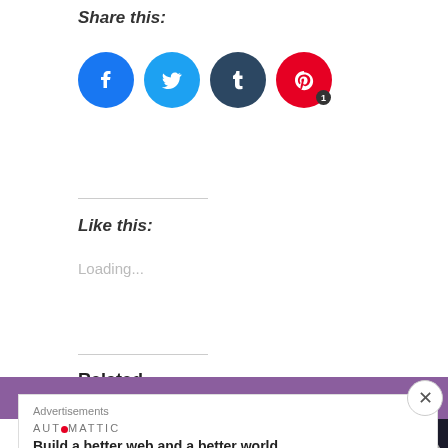Share this:
[Figure (infographic): Four social media share buttons: Facebook (blue circle), Twitter (light blue circle), Tumblr (dark blue circle), Pinterest (red circle with badge showing '1')]
Like this:
Loading...
Related
[Figure (photo): Breezer's Top Ten Metal Digs - purple/pink graphic with stylized text]
[Figure (photo): Collage of four music album covers with dark/moody aesthetic]
Advertisements
AUTOMATTIC
Build a better web and a better world.